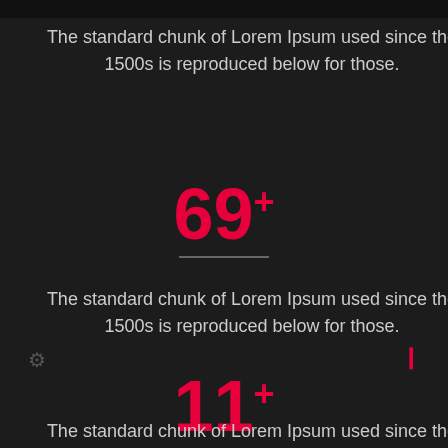The standard chunk of Lorem Ipsum used since the 1500s is reproduced below for those.
69+
The standard chunk of Lorem Ipsum used since the 1500s is reproduced below for those.
11+
The standard chunk of Lorem Ipsum used since the 1500s is reproduced below for those.